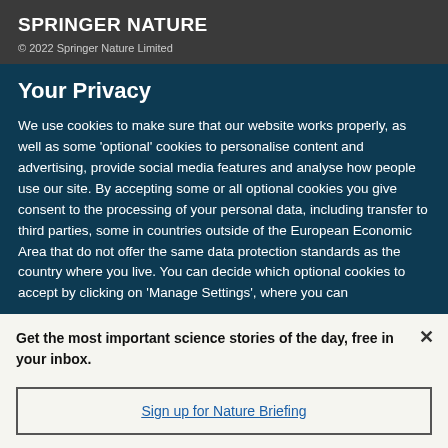[Figure (logo): Springer Nature logo text in white bold capitals on dark grey background]
© 2022 Springer Nature Limited
Your Privacy
We use cookies to make sure that our website works properly, as well as some 'optional' cookies to personalise content and advertising, provide social media features and analyse how people use our site. By accepting some or all optional cookies you give consent to the processing of your personal data, including transfer to third parties, some in countries outside of the European Economic Area that do not offer the same data protection standards as the country where you live. You can decide which optional cookies to accept by clicking on 'Manage Settings', where you can
Get the most important science stories of the day, free in your inbox.
Sign up for Nature Briefing